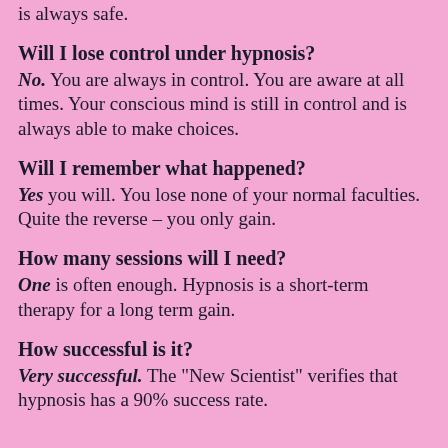is always safe.
Will I lose control under hypnosis?
No. You are always in control. You are aware at all times. Your conscious mind is still in control and is always able to make choices.
Will I remember what happened?
Yes you will. You lose none of your normal faculties. Quite the reverse – you only gain.
How many sessions will I need?
One is often enough. Hypnosis is a short-term therapy for a long term gain.
How successful is it?
Very successful. The "New Scientist" verifies that hypnosis has a 90% success rate.